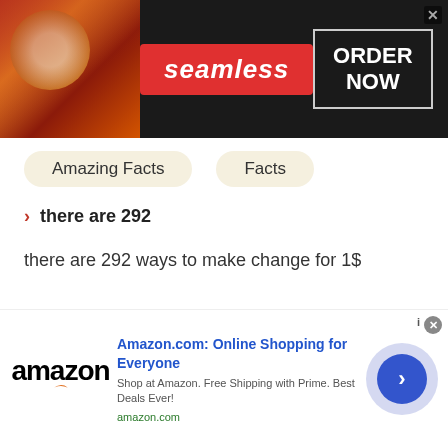[Figure (screenshot): Seamless food delivery banner ad with pizza image on left, Seamless logo in red rectangle in center, and ORDER NOW button in white box on right with X close button]
Amazing Facts
Facts
there are 292
there are 292 ways to make change for 1$
READ MORE
SHARE
[Figure (screenshot): Amazon advertisement banner showing Amazon logo, title 'Amazon.com: Online Shopping for Everyone', subtitle 'Shop at Amazon. Free Shipping with Prime. Best Deals Ever!', amazon.com URL, and a blue circular CTA button with chevron arrow]